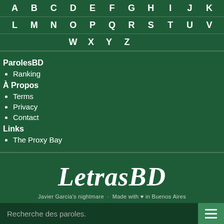[Figure (screenshot): Alphabet navigation grid with letters A-Z arranged in rows on dark green background]
ParolesBD
Ranking
À Propos
Terms
Privacy
Contact
Links
The Proxy Bay
LetrasBD
Javier Garcia's nightmare · Made with ♥ in Buenos Aires
Recherche des paroles.